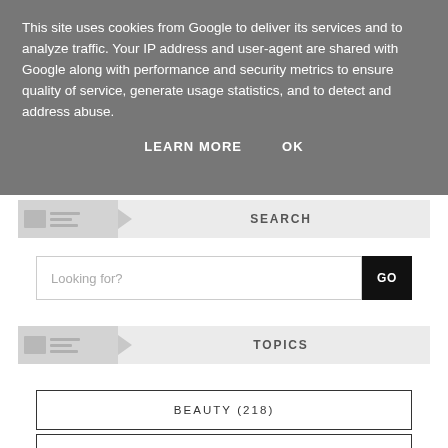This site uses cookies from Google to deliver its services and to analyze traffic. Your IP address and user-agent are shared with Google along with performance and security metrics to ensure quality of service, generate usage statistics, and to detect and address abuse.
LEARN MORE   OK
SEARCH
Looking for?
GO
TOPICS
BEAUTY (218)